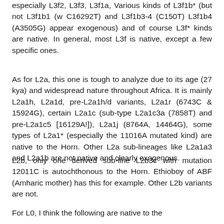especially L3f2, L3f3, L3f1a, Various kinds of L3f1b* (but not L3f1b1 (w C16292T) and L3f1b3-4 (C150T) L3f1b4 (A3505G) appear exogenous) and of course L3f* kinds are native. In general, most L3f is native, except a few specific ones.
As for L2a, this one is tough to analyze due to its age (27 kya) and widespread nature throughout Africa. It is mainly L2a1h, L2a1d, pre-L2a1h/d variants, L2a1r (6743C & 15924G), certain L2a1c (sub-type L2a1c3a (7858T) and pre-L2a1c5 [16129A!]), L2a1j (8764A, 14464G), some types of L2a1* (especially the 11016A mutated kind) are native to the Horn. Other L2a sub-lineages like L2a1a3 and L2a1b are not native and clearly exogenous.
L2b, only one derived sub-line L2b3c with mutation 12011C is autochthonous to the Horn. Ethioboy of ABF (Amharic mother) has this for example. Other L2b variants are not.
For L0, I think the following are native to the